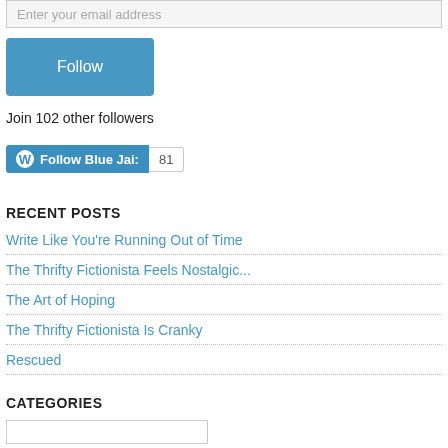Enter your email address
Follow
Join 102 other followers
[Figure (screenshot): WordPress Follow Blue Jai button with count 81]
RECENT POSTS
Write Like You're Running Out of Time
The Thrifty Fictionista Feels Nostalgic...
The Art of Hoping
The Thrifty Fictionista Is Cranky
Rescued
CATEGORIES